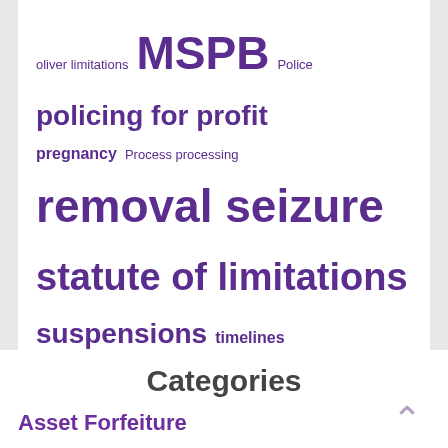oliver limitations MSPB Police policing for profit pregnancy Process processing removal seizure statute of limitations suspensions timelines Tips trial
Categories
Asset Forfeiture
California Employment Law
Customs Law
Expungements
Federal Employment Law